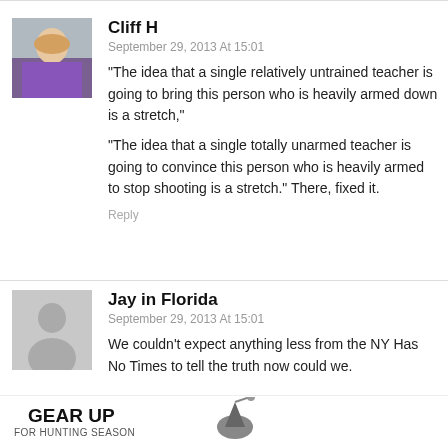[Figure (photo): Avatar photo of commenter Cliff H, appears to be a woman in purple clothing]
Cliff H
September 29, 2013 At 15:01
“The idea that a single relatively untrained teacher is going to bring this person who is heavily armed down is a stretch,”
“The idea that a single totally unarmed teacher is going to convince this person who is heavily armed to stop shooting is a stretch.” There, fixed it.
Reply
[Figure (illustration): Generic gray avatar placeholder for commenter Jay in Florida]
Jay in Florida
September 29, 2013 At 15:01
We couldn’t expect anything less from the NY Has No Times to tell the truth now could we.
GEAR UP